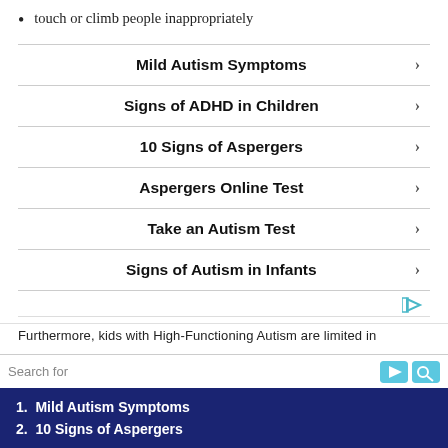touch or climb people inappropriately
Mild Autism Symptoms
Signs of ADHD in Children
10 Signs of Aspergers
Aspergers Online Test
Take an Autism Test
Signs of Autism in Infants
Furthermore, kids with High-Functioning Autism are limited in
Search for
1.  Mild Autism Symptoms
2.  10 Signs of Aspergers